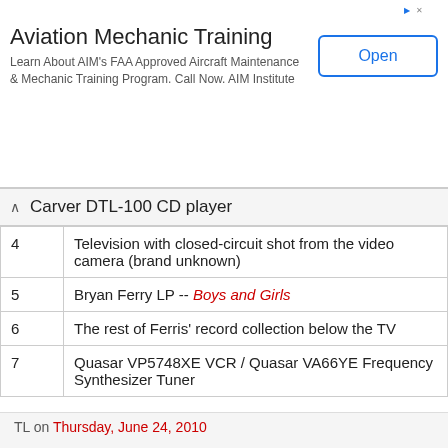[Figure (screenshot): Advertisement banner for Aviation Mechanic Training by AIM Institute with an Open button]
Carver DTL-100 CD player
| 4 | Television with closed-circuit shot from the video camera (brand unknown) |
| 5 | Bryan Ferry LP -- Boys and Girls |
| 6 | The rest of Ferris' record collection below the TV |
| 7 | Quasar VP5748XE VCR / Quasar VA66YE Frequency Synthesizer Tuner |
There you have it, folks. Let me know if you've got anything to add!
Rooney eats it.
TL on Thursday, June 24, 2010